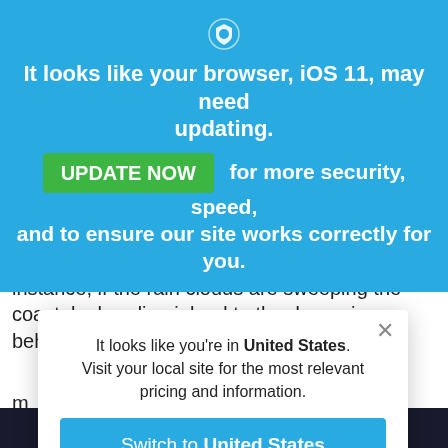[Figure (screenshot): Blue browser update banner with shield icon, UPDATE NOW green button, and body text about Northern Lights tour partially visible, plus a modal dialog about United States local site.]
It looks like your browser, iOS 11, may need updating.
UPDATE NOW  for more security, speed, and to ensure our site works correctly for you.
we often suggest visiting two different spots during your Northern Lights tour so that, for instance, if the rain clouds are sweeping the coast, by heading inland to the dry regions behind the
It looks like you're in United States. Visit your local site for the most relevant pricing and information.
Switch to United States